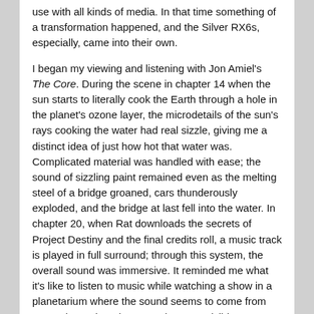use with all kinds of media. In that time something of a transformation happened, and the Silver RX6s, especially, came into their own.
I began my viewing and listening with Jon Amiel's The Core. During the scene in chapter 14 when the sun starts to literally cook the Earth through a hole in the planet's ozone layer, the microdetails of the sun's rays cooking the water had real sizzle, giving me a distinct idea of just how hot that water was. Complicated material was handled with ease; the sound of sizzling paint remained even as the melting steel of a bridge groaned, cars thunderously exploded, and the bridge at last fell into the water. In chapter 20, when Rat downloads the secrets of Project Destiny and the final credits roll, a music track is played in full surround; through this system, the overall sound was immersive. It reminded me what it's like to listen to music while watching a show in a planetarium where the sound seems to come from everywhere, though no speakers are visible.
With Hitman, the Silver RXW-12 proved its worth by adding just the right amount of weight and speed during the scene of ...